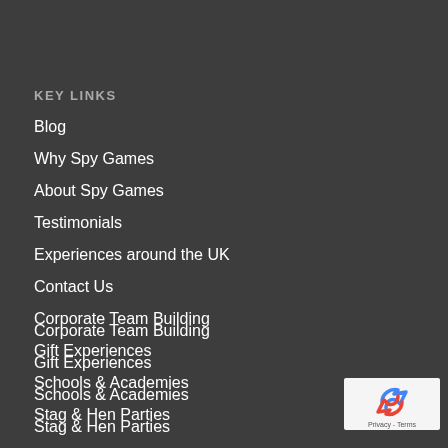KEY LINKS
Blog
Why Spy Games
About Spy Games
Testimonials
Experiences around the UK
Contact Us
Corporate Team Building
Gift Experiences
Schools & Academies
Stag & Hen Parties
PR Media & Film
Privacy Policy
Terms of Use
[Figure (logo): reCAPTCHA badge with Google logo arrows and text Privacy - Terms]